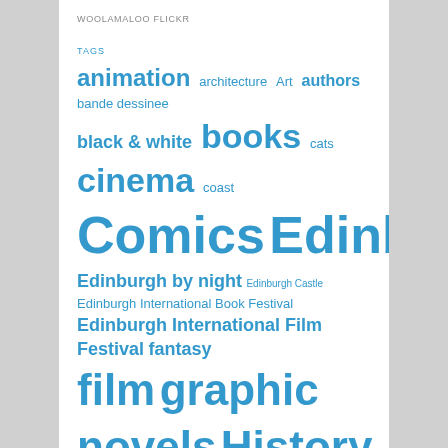WOOLAMALOO FLICKR
TAGS
animation architecture Art authors bande dessinee black & white books cats cinema coast Comics Edinburgh Edinburgh by night Edinburgh Castle Edinburgh International Book Festival Edinburgh International Film Festival fantasy film graphic novels History horror movie movies music nature night photographs photography poetry politics review reviews Royal Mile